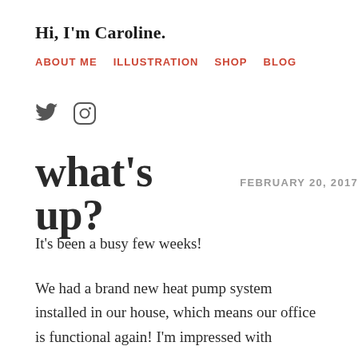Hi, I'm Caroline.
ABOUT ME   ILLUSTRATION   SHOP   BLOG
what's up?  FEBRUARY 20, 2017
It's been a busy few weeks!
We had a brand new heat pump system installed in our house, which means our office is functional again! I'm impressed with